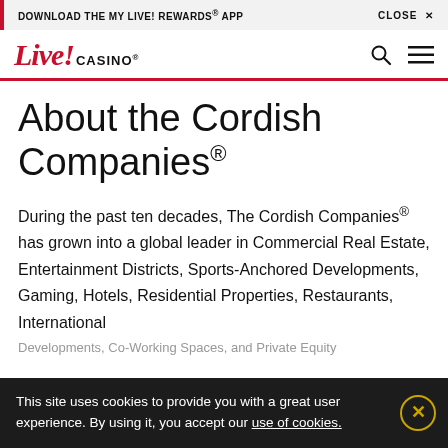DOWNLOAD THE MY LIVE! REWARDS® APP   CLOSE ✕
[Figure (logo): Live! Casino logo with red cursive 'Live!' and bold uppercase 'CASINO®' text, search icon and hamburger menu icon]
About the Cordish Companies®
During the past ten decades, The Cordish Companies® has grown into a global leader in Commercial Real Estate, Entertainment Districts, Sports-Anchored Developments, Gaming, Hotels, Residential Properties, Restaurants, International
Developments, Co-Working Spaces, and Private Equity
This site uses cookies to provide you with a great user experience. By using it, you accept our use of cookies.